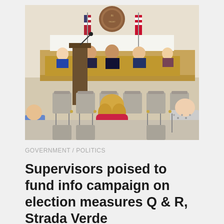[Figure (photo): A government meeting room scene viewed from behind the audience. A woman with blonde hair in a red top sits in grey audience chairs. At the front, officials sit at a raised wooden bench/dais. An American flag and a California state flag are visible, along with a circular seal on the wall. A podium/lectern stands in the foreground.]
GOVERNMENT / POLITICS
Supervisors poised to fund info campaign on election measures Q & R, Strada Verde